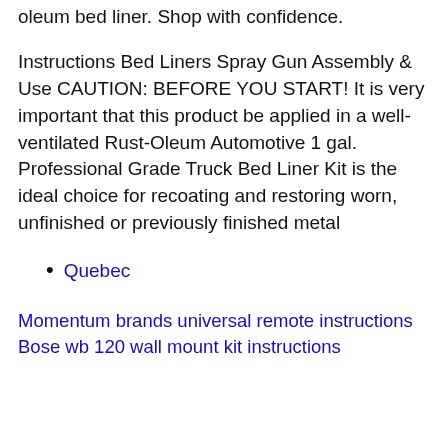oleum bed liner. Shop with confidence.
Instructions Bed Liners Spray Gun Assembly & Use CAUTION: BEFORE YOU START! It is very important that this product be applied in a well-ventilated Rust-Oleum Automotive 1 gal. Professional Grade Truck Bed Liner Kit is the ideal choice for recoating and restoring worn, unfinished or previously finished metal
Quebec
Momentum brands universal remote instructions
Bose wb 120 wall mount kit instructions